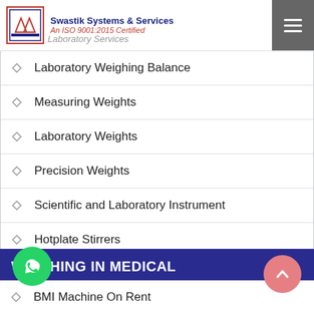Swastik Systems & Services | An ISO 9001:2015 Certified
Laboratory Weighing Balance
Measuring Weights
Laboratory Weights
Precision Weights
Scientific and Laboratory Instrument
Hotplate Stirrers
WEIGHING IN MEDICAL
BMI Machine On Rent
BMI Machines
BMI Scale